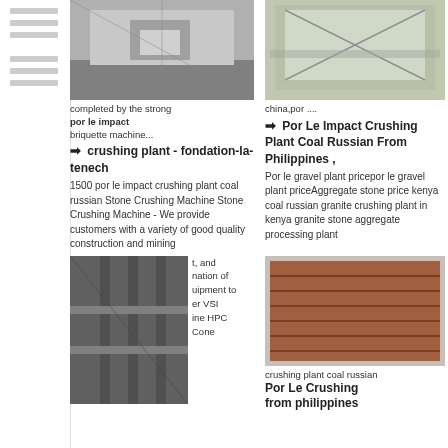[Figure (photo): Crushing plant equipment in industrial building]
[Figure (photo): Large metal vibrating screen equipment outdoors]
completed by the strong
briquette machine...
china,por ....
→ por le impact crushing plant - fondation-la-tenech
→ Por Le Impact Crushing Plant Coal Russian From Philippines ,
1500 por le impact crushing plant coal russian Stone Crushing Machine Stone Crushing Machine - We provide customers with a variety of good quality construction and mining
Por le gravel plant pricepor le gravel plant priceAggregate stone price kenya coal russian granite crushing plant in kenya granite stone aggregate processing plant
[Figure (photo): Industrial structure with metal framework viewed from below]
t, and
nation of
uipment to
er VSI
ine HPC
Cone
[Figure (photo): Brown wooden slatted panel or screen equipment]
crushing plant coal russian
Por Le Crushing
from philippines